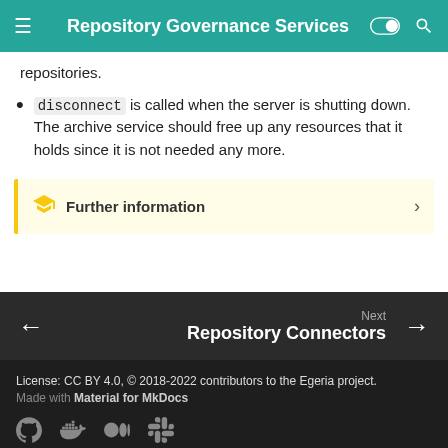Repository Governance Services
repositories.
disconnect is called when the server is shutting down. The archive service should free up any resources that it holds since it is not needed any more.
Further information
Next Repository Connectors
License: CC BY 4.0, © 2018-2022 contributors to the Egeria project. Made with Material for MkDocs